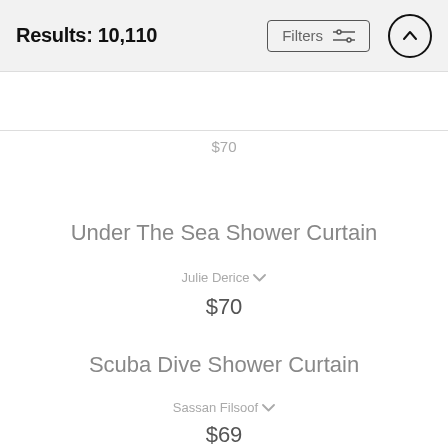Results: 10,110
$70
Under The Sea Shower Curtain
Julie Derice
$70
Scuba Dive Shower Curtain
Sassan Filsoof
$69